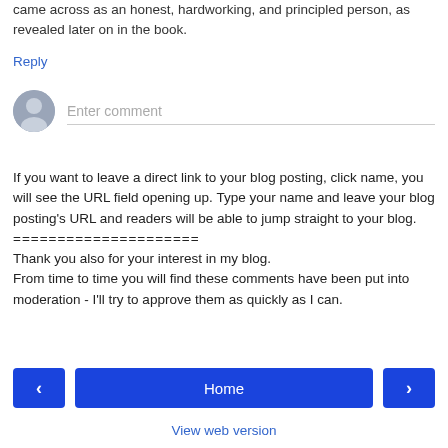came across as an honest, hardworking, and principled person, as revealed later on in the book.
Reply
[Figure (other): User avatar icon (grey silhouette) with 'Enter comment' placeholder text input field below a horizontal line]
If you want to leave a direct link to your blog posting, click name, you will see the URL field opening up. Type your name and leave your blog posting's URL and readers will be able to jump straight to your blog.
=====================
Thank you also for your interest in my blog.
From time to time you will find these comments have been put into moderation - I'll try to approve them as quickly as I can.
< Home > View web version